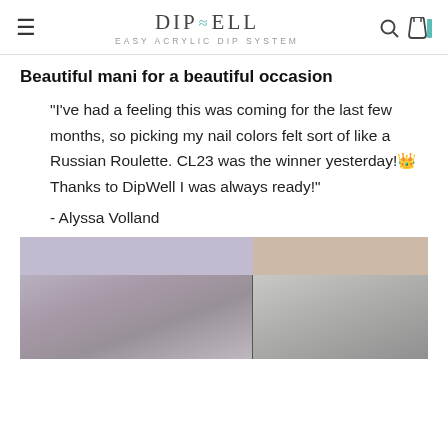DIP≈ELL EASY ACRYLIC DIP SYSTEM
Beautiful mani for a beautiful occasion
"I've had a feeling this was coming for the last few months, so picking my nail colors felt sort of like a Russian Roulette. CL23 was the winner yesterday!🎉 Thanks to DipWell I was always ready!"
- Alyssa Volland
[Figure (photo): Photo of hands with painted nails, split into two panels with a light purple/lavender background on top]